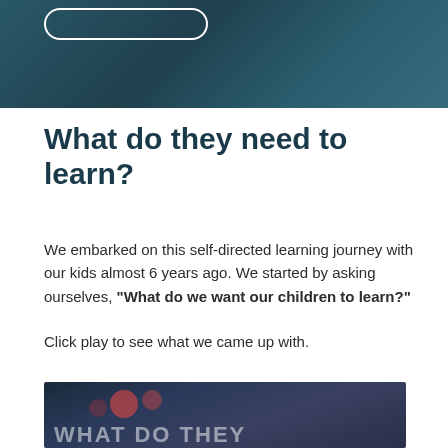[Figure (photo): Dark teal/blue background photo at top of page showing partial view, with a rounded rectangle button outline visible in upper left area]
What do they need to learn?
We embarked on this self-directed learning journey with our kids almost 6 years ago. We started by asking ourselves, "What do we want our children to learn?"
Click play to see what we came up with.
[Figure (screenshot): Video thumbnail with dark blue background showing colorful dots/lights and large white text reading WHAT DO THEY]